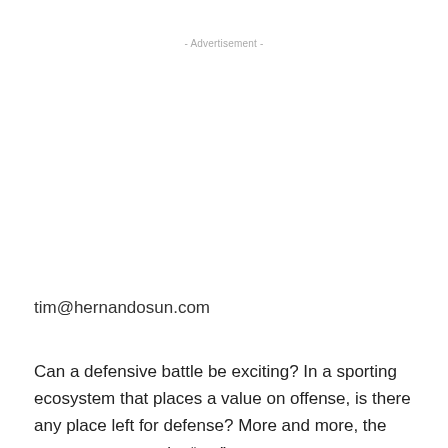- Advertisement -
tim@hernandosun.com
Can a defensive battle be exciting? In a sporting ecosystem that places a value on offense, is there any place left for defense? More and more, the answer seems to be “no.”